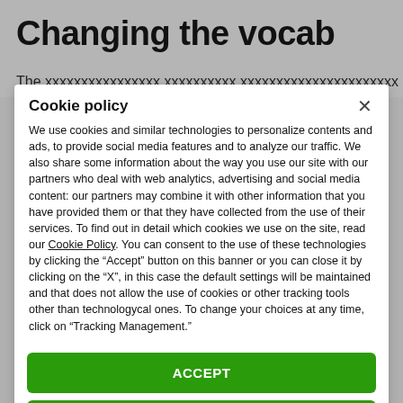Changing the vocab
The page is cropped, partially visible subtitle text
Cookie policy
We use cookies and similar technologies to personalize contents and ads, to provide social media features and to analyze our traffic. We also share some information about the way you use our site with our partners who deal with web analytics, advertising and social media content: our partners may combine it with other information that you have provided them or that they have collected from the use of their services. To find out in detail which cookies we use on the site, read our Cookie Policy. You can consent to the use of these technologies by clicking the "Accept" button on this banner or you can close it by clicking on the "X", in this case the default settings will be maintained and that does not allow the use of cookies or other tracking tools other than technologycal ones. To change your choices at any time, click on “Tracking Management.”
ACCEPT
TRACKERS MANAGEMENT
Show vendors | Show purposes